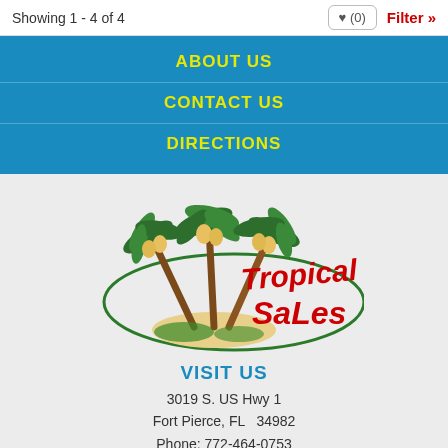Showing 1 - 4 of 4
ABOUT US
CONTACT US
DIRECTIONS
[Figure (logo): Tropical RV Sales logo with palm trees on a sandy island and green oval ring]
VISIT US
3019 S. US Hwy 1
Fort Pierce, FL  34982
Phone: 772-464-0753